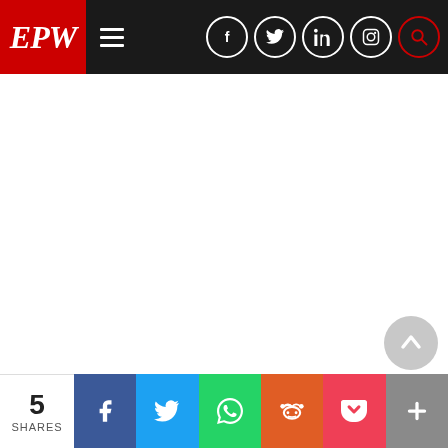[Figure (screenshot): EPW (Economic and Political Weekly) website navigation bar with red EPW logo on left, hamburger menu icon, and social media icons (Facebook, Twitter, LinkedIn, Instagram, Search) on the right on dark background]
[Figure (screenshot): White empty content area of the EPW website]
[Figure (screenshot): Grey circular scroll-to-top button with upward arrow]
[Figure (screenshot): Bottom social sharing bar showing 5 SHARES count and buttons for Facebook, Twitter, WhatsApp, Reddit, Pocket, and More (+)]